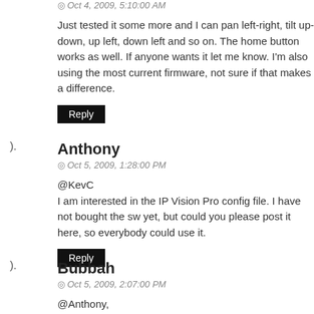© Oct 4, 2009, 5:10:00 AM
Just tested it some more and I can pan left-right, tilt up-down, up left, down left and so on. The home button works as well. If anyone wants it let me know. I'm also using the most current firmware, not sure if that makes a difference.
Reply
Anthony
© Oct 5, 2009, 1:28:00 PM
@KevC
I am interested in the IP Vision Pro config file. I have not bought the sw yet, but could you please post it here, so everybody could use it.
Reply
Bubbah
© Oct 5, 2009, 2:07:00 PM
@Anthony,